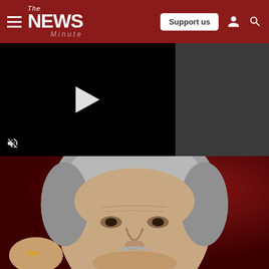The News Minute - Navigation bar with Support us button
[Figure (screenshot): Video player with black background and white play button triangle, with mute icon at bottom left; right side dark gray sidebar panel]
[Figure (photo): Close-up photo of a middle-aged Indian man with gray hair and slight mustache, wearing a ring on finger, against a dark red/maroon background]